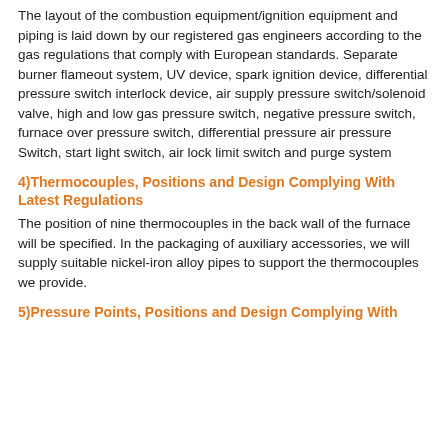The layout of the combustion equipment/ignition equipment and piping is laid down by our registered gas engineers according to the gas regulations that comply with European standards. Separate burner flameout system, UV device, spark ignition device, differential pressure switch interlock device, air supply pressure switch/solenoid valve, high and low gas pressure switch, negative pressure switch, furnace over pressure switch, differential pressure air pressure Switch, start light switch, air lock limit switch and purge system
4)Thermocouples, Positions and Design Complying With Latest Regulations
The position of nine thermocouples in the back wall of the furnace will be specified. In the packaging of auxiliary accessories, we will supply suitable nickel-iron alloy pipes to support the thermocouples we provide.
5)Pressure Points, Positions and Design Complying With